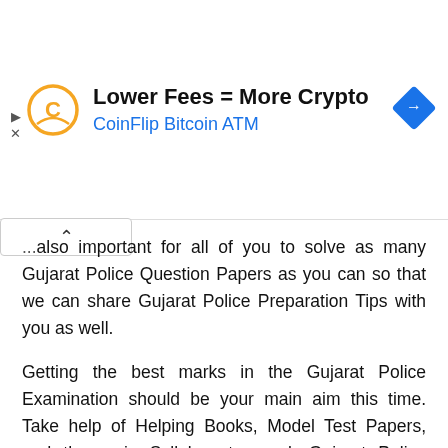[Figure (other): Advertisement banner: CoinFlip Bitcoin ATM — 'Lower Fees = More Crypto' with logo and navigation arrow icon]
...also important for all of you to solve as many Gujarat Police Question Papers as you can so that we can share Gujarat Police Preparation Tips with you as well.
Getting the best marks in the Gujarat Police Examination should be your main aim this time. Take help of Helping Books, Model Test Papers, and the main Syllabus to crack Gujarat Police Competitive Examination. We will also share further Information on Gujarat Police Recruitment Exam with you on time.